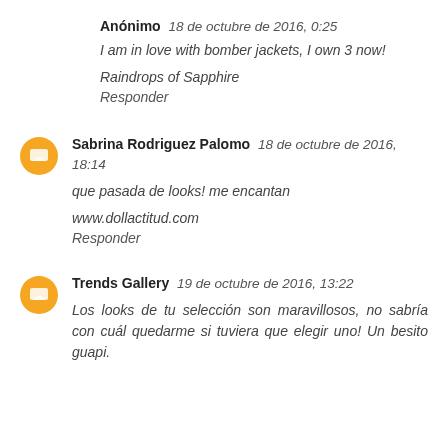Anónimo  18 de octubre de 2016, 0:25
I am in love with bomber jackets, I own 3 now!
Raindrops of Sapphire
Responder
Sabrina Rodriguez Palomo  18 de octubre de 2016, 18:14
que pasada de looks! me encantan
www.dollactitud.com
Responder
Trends Gallery  19 de octubre de 2016, 13:22
Los looks de tu selección son maravillosos, no sabría con cuál quedarme si tuviera que elegir uno! Un besito guapi.